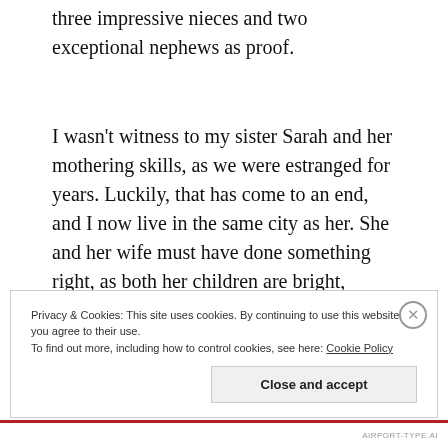three impressive nieces and two exceptional nephews as proof.
I wasn't witness to my sister Sarah and her mothering skills, as we were estranged for years. Luckily, that has come to an end, and I now live in the same city as her. She and her wife must have done something right, as both her children are bright, articulate and polite. I'll be working with her oldest this summer as he will be
Privacy & Cookies: This site uses cookies. By continuing to use this website, you agree to their use.
To find out more, including how to control cookies, see here: Cookie Policy
Close and accept
AIRPORT-TYPE.AI